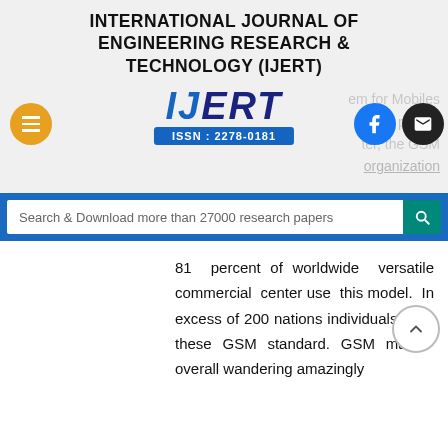INTERNATIONAL JOURNAL OF ENGINEERING RESEARCH & TECHNOLOGY (IJERT)
[Figure (logo): IJERT logo with blue text and ISSN: 2278-0181 bar, flanked by hamburger menu (orange), Facebook button (blue), and email button (black)]
Search & Download more than 27000 research papers
81 percent of worldwide versatile commercial center use this model. In excess of 200 nations individuals uses these GSM standard. GSM makes overall wandering amazingly